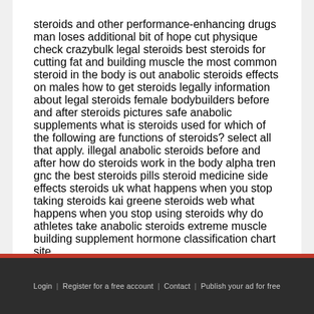steroids and other performance-enhancing drugs man loses additional bit of hope cut physique check crazybulk legal steroids best steroids for cutting fat and building muscle the most common steroid in the body is out anabolic steroids effects on males how to get steroids legally information about legal steroids female bodybuilders before and after steroids pictures safe anabolic supplements what is steroids used for which of the following are functions of steroids? select all that apply. illegal anabolic steroids before and after how do steroids work in the body alpha tren gnc the best steroids pills steroid medicine side effects steroids uk what happens when you stop taking steroids kai greene steroids web what happens when you stop using steroids why do athletes take anabolic steroids extreme muscle building supplement hormone classification chart site. .
Login  |  Register for a free account  |  Contact  |  Publish your ad for free